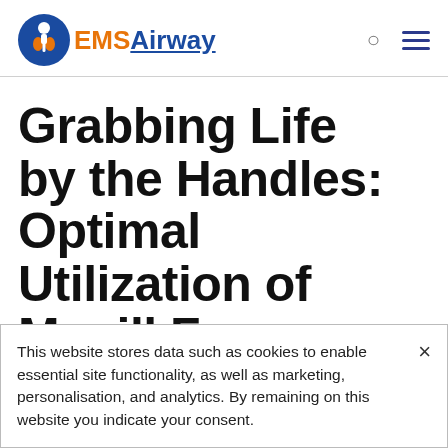EMS Airway
Grabbing Life by the Handles: Optimal Utilization of Magill Forceps
This website stores data such as cookies to enable essential site functionality, as well as marketing, personalisation, and analytics. By remaining on this website you indicate your consent.